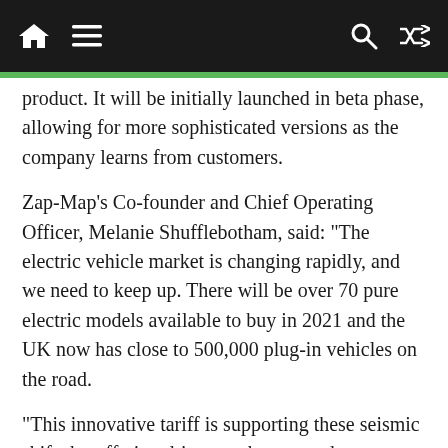Navigation bar with home, menu, search, and shuffle icons
product. It will be initially launched in beta phase, allowing for more sophisticated versions as the company learns from customers.
Zap-Map’s Co-founder and Chief Operating Officer, Melanie Shufflebotham, said: “The electric vehicle market is changing rapidly, and we need to keep up. There will be over 70 pure electric models available to buy in 2021 and the UK now has close to 500,000 plug-in vehicles on the road.
“This innovative tariff is supporting these seismic shifts by offering drivers a cheaper and greener way of charging their vehicle. Zap Flash goes above and beyond what’s currently on the market by listening to what people want and helping